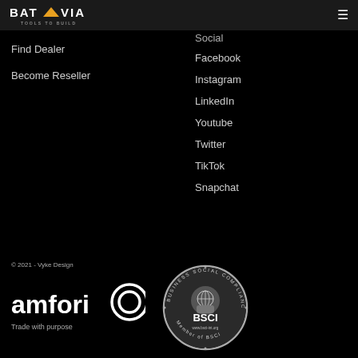BATAVIA TOOLS TO BUILD
Social
Find Dealer
Become Reseller
Facebook
Instagram
LinkedIn
Youtube
Twitter
TikTok
Snapchat
© 2021 - Vyke Design
[Figure (logo): amfori Trade with purpose logo - white text with circular O symbol]
[Figure (logo): BSCI Business Social Compliance Initiative circular badge - Member of BSCI, www.bsci-int.org]